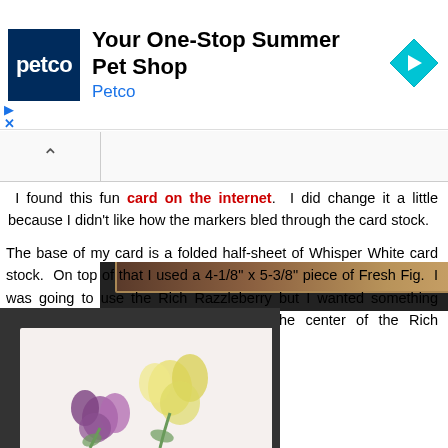[Figure (screenshot): Petco advertisement banner: blue Petco logo square on left, heading 'Your One-Stop Summer Pet Shop', subheading 'Petco' in blue, cyan diamond navigation icon on right. Play and X controls bottom-left.]
[Figure (screenshot): Partial navigation bar with left arrow button and partial dark image of a decorative card visible on the right.]
I found this fun card on the internet. I did change it a little because I didn't like how the markers bled through the card stock.
The base of my card is a folded half-sheet of Whisper White card stock. On top of that I used a 4-1/8" x 5-3/8" piece of Fresh Fig. I was going to use the Rich Razzleberry but I wanted something darker to bring out the darkness of the center of the Rich Razzleberry flowers.
[Figure (photo): Bottom portion of a handmade greeting card showing floral design with purple and yellow flowers on a light background, placed on dark card stock.]